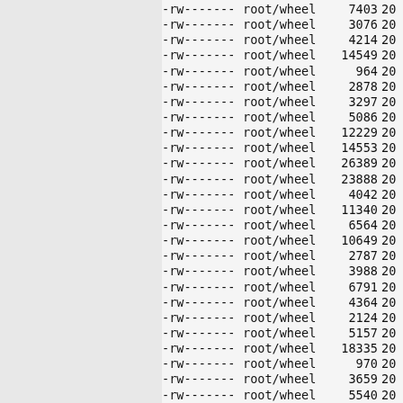-rw------- root/wheel  7403 20...
-rw------- root/wheel  3076 20...
-rw------- root/wheel  4214 20...
-rw------- root/wheel 14549 20...
-rw------- root/wheel   964 20...
-rw------- root/wheel  2878 20...
-rw------- root/wheel  3297 20...
-rw------- root/wheel  5086 20...
-rw------- root/wheel 12229 20...
-rw------- root/wheel 14553 20...
-rw------- root/wheel 26389 20...
-rw------- root/wheel 23888 20...
-rw------- root/wheel  4042 20...
-rw------- root/wheel 11340 20...
-rw------- root/wheel  6564 20...
-rw------- root/wheel 10649 20...
-rw------- root/wheel  2787 20...
-rw------- root/wheel  3988 20...
-rw------- root/wheel  6791 20...
-rw------- root/wheel  4364 20...
-rw------- root/wheel  2124 20...
-rw------- root/wheel  5157 20...
-rw------- root/wheel 18335 20...
-rw------- root/wheel   970 20...
-rw------- root/wheel  3659 20...
-rw------- root/wheel  5540 20...
-rw------- root/wheel  1079 20...